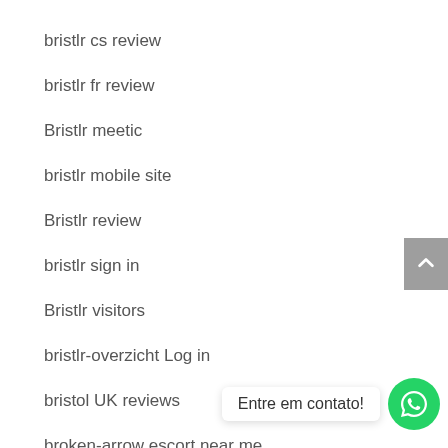bristlr cs review
bristlr fr review
Bristlr meetic
bristlr mobile site
Bristlr review
bristlr sign in
Bristlr visitors
bristlr-overzicht Log in
bristol UK reviews
broken-arrow escort near me
Bronymate meetic
BronyMate review
Bronymate strony takie jak